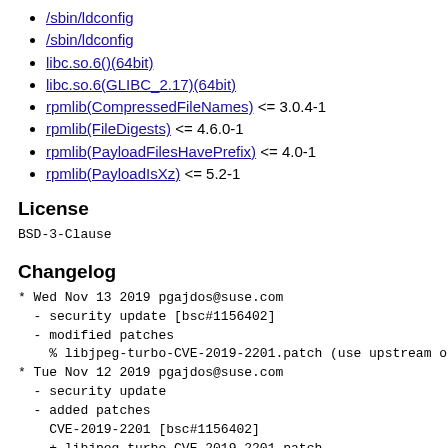/sbin/ldconfig
/sbin/ldconfig
libc.so.6()(64bit)
libc.so.6(GLIBC_2.17)(64bit)
rpmlib(CompressedFileNames) <= 3.0.4-1
rpmlib(FileDigests) <= 4.6.0-1
rpmlib(PayloadFilesHavePrefix) <= 4.0-1
rpmlib(PayloadIsXz) <= 5.2-1
License
BSD-3-Clause
Changelog
* Wed Nov 13 2019 pgajdos@suse.com
  - security update [bsc#1156402]
  - modified patches
    % libjpeg-turbo-CVE-2019-2201.patch (use upstream one
* Tue Nov 12 2019 pgajdos@suse.com
  - security update
  - added patches
    CVE-2019-2201 [bsc#1156402]
    + libjpeg-turbo-CVE-2019-2201.patch
* Wed Mar 13 2019 pgajdos@suse.com
  - security update
  - added patches